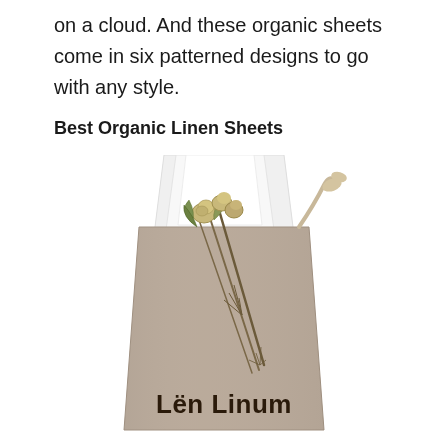on a cloud. And these organic sheets come in six patterned designs to go with any style.
Best Organic Linen Sheets
[Figure (photo): A linen drawstring bag branded 'Lën Linum' containing white folded sheets, with dried botanical flowers/herbs laid across the front of the bag.]